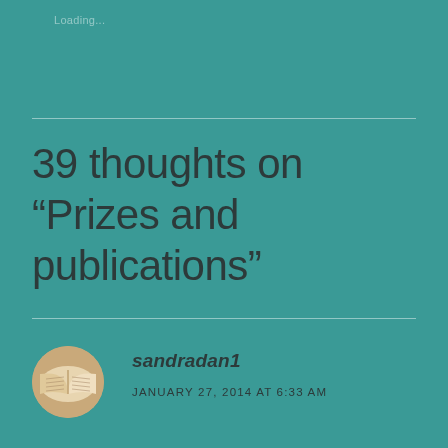Loading...
39 thoughts on “Prizes and publications”
sandradan1
JANUARY 27, 2014 AT 6:33 AM